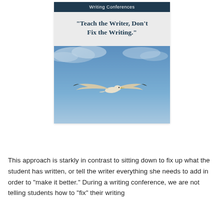Writing Conferences
"Teach the Writer, Don't Fix the Writing."
[Figure (photo): A white seagull in flight against a blue sky with soft clouds]
This approach is starkly in contrast to sitting down to fix up what the student has written, or tell the writer everything she needs to add in order to “make it better.” During a writing conference, we are not telling students how to “fix” their writing